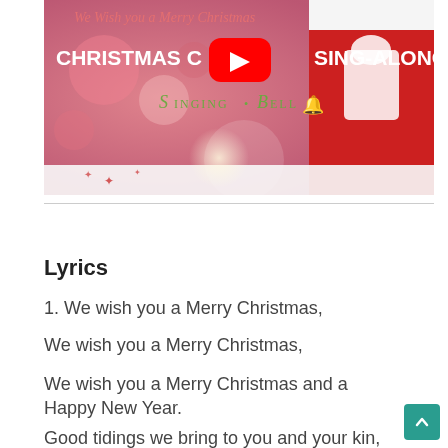[Figure (screenshot): YouTube thumbnail showing a Christmas carol sing-along video. Background shows Christmas decorations with bokeh lights, a red stocking, and snow. Text reads 'We Wish you a Merry Christmas' in cursive, 'CHRISTMAS CAROL SING-ALONG' in white bold text, YouTube play button in center, and 'Singing Bell' logo in green.]
Lyrics
1. We wish you a Merry Christmas,
We wish you a Merry Christmas,
We wish you a Merry Christmas and a Happy New Year.
Good tidings we bring to you and your kin,